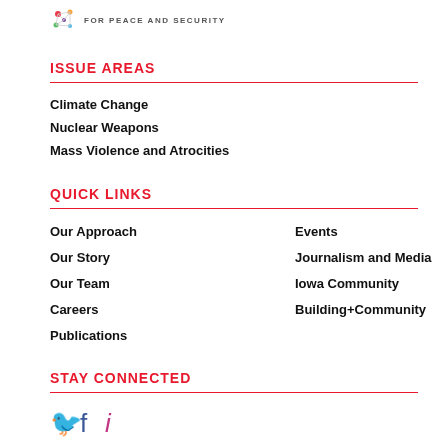FOR PEACE AND SECURITY
ISSUE AREAS
Climate Change
Nuclear Weapons
Mass Violence and Atrocities
QUICK LINKS
Our Approach
Events
Our Story
Journalism and Media
Our Team
Iowa Community
Careers
Building+Community
Publications
STAY CONNECTED